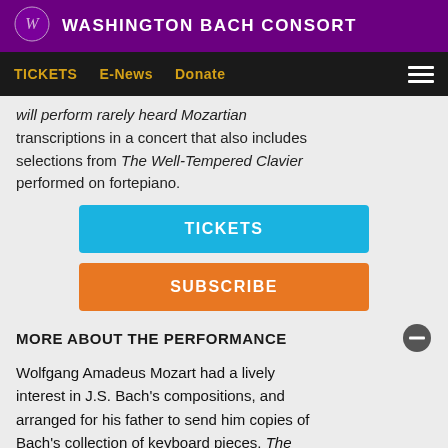WASHINGTON BACH CONSORT
TICKETS   E-News   Donate
will perform rarely heard Mozartian transcriptions in a concert that also includes selections from The Well-Tempered Clavier performed on fortepiano.
TICKETS
SUBSCRIBE
MORE ABOUT THE PERFORMANCE
Wolfgang Amadeus Mozart had a lively interest in J.S. Bach's compositions, and arranged for his father to send him copies of Bach's collection of keyboard pieces, The Well-Tempered Clavier. Mozart then transcribed some of the fugues from that iconic keyboard work for string trios and